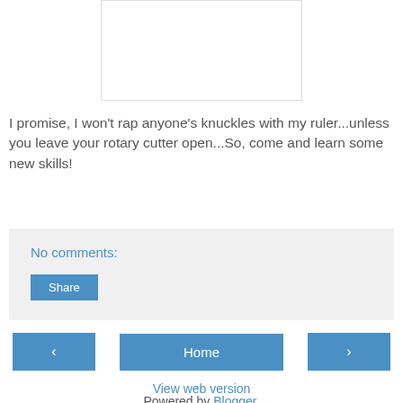[Figure (photo): White rectangular image placeholder with light border]
I promise, I won't rap anyone's knuckles with my ruler...unless you leave your rotary cutter open...So, come and learn some new skills!
No comments:
Share
‹
Home
›
View web version
Powered by Blogger.